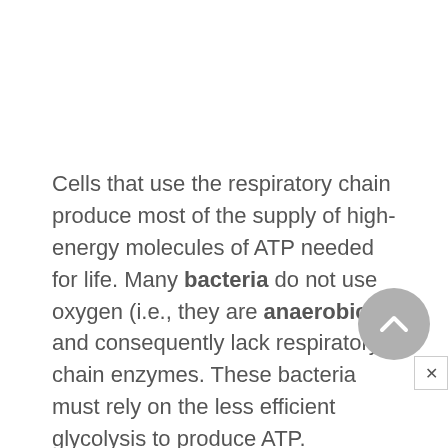Cells that use the respiratory chain produce most of the supply of high-energy molecules of ATP needed for life. Many bacteria do not use oxygen (i.e., they are anaerobic ), and consequently lack respiratory chain enzymes. These bacteria must rely on the less efficient glycolysis to produce ATP.